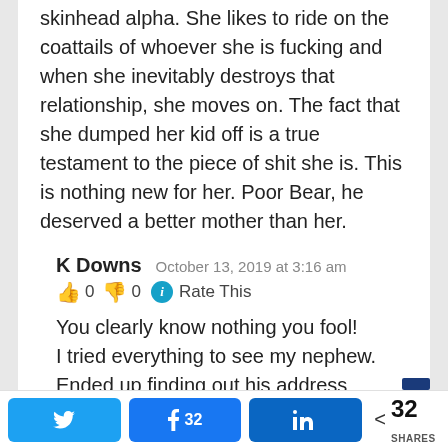skinhead alpha. She likes to ride on the coattails of whoever she is fucking and when she inevitably destroys that relationship, she moves on. The fact that she dumped her kid off is a true testament to the piece of shit she is. This is nothing new for her. Poor Bear, he deserved a better mother than her.
K Downs   October 13, 2019 at 3:16 am
👍 0 👎 0 ℹ Rate This
You clearly know nothing you fool! I tried everything to see my nephew. Ended up finding out his address illegally because I was so desperate. She had you brainwashed with lies
Twitter | Facebook 32 | LinkedIn | < 32 SHARES